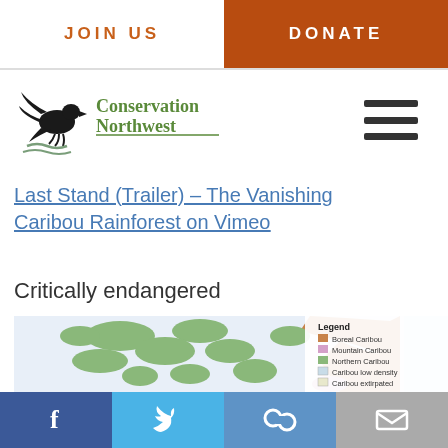JOIN US | DONATE
[Figure (logo): Conservation Northwest logo with eagle silhouette and green text]
Last Stand (Trailer) – The Vanishing Caribou Rainforest on Vimeo
Critically endangered
[Figure (map): Map showing caribou habitat ranges with legend: Boreal Caribou (brown), Mountain Caribou (pink), Northern Caribou (green), Caribou low density (light blue), Caribou extirpated (pale yellow)]
Facebook | Twitter | Link | Email social sharing icons